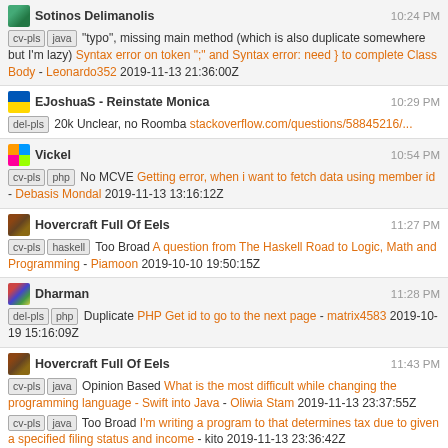Sotinos Delimanolis 10:24 PM cv-pls java "typo", missing main method (which is also duplicate somewhere but I'm lazy) Syntax error on token ";" and Syntax error: need } to complete Class Body - Leonardo352 2019-11-13 21:36:00Z
EJoshuaS - Reinstate Monica 10:29 PM del-pls 20k Unclear, no Roomba stackoverflow.com/questions/58845216/...
Vickel 10:54 PM cv-pls php No MCVE Getting error, when i want to fetch data using member id - Debasis Mondal 2019-11-13 13:16:12Z
Hovercraft Full Of Eels 11:27 PM cv-pls haskell Too Broad A question from The Haskell Road to Logic, Math and Programming - Piamoon 2019-10-10 19:50:15Z
Dharman 11:28 PM del-pls php Duplicate PHP Get id to go to the next page - matrix4583 2019-10-19 15:16:09Z
Hovercraft Full Of Eels 11:43 PM cv-pls java Opinion Based What is the most difficult while changing the programming language - Swift into Java - Oliwia Stam 2019-11-13 23:37:55Z cv-pls java Too Broad I'm writing a program to that determines tax due to given a specified filing status and income - kito 2019-11-13 23:36:42Z
0 - 21h  21 - 0h
← prev day  next day →  last day »